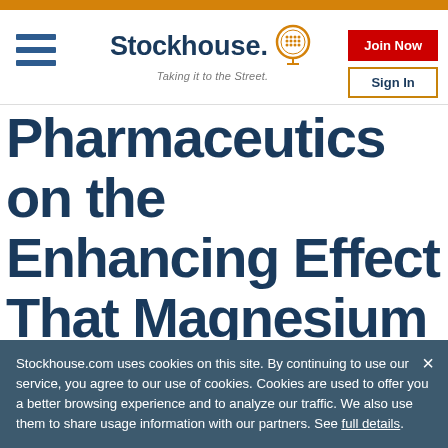Stockhouse — Taking it to the Street. Join Now | Sign In
Pharmaceutics on the Enhancing Effect That Magnesium Contributes to in
Stockhouse.com uses cookies on this site. By continuing to use our service, you agree to our use of cookies. Cookies are used to offer you a better browsing experience and to analyze our traffic. We also use them to share usage information with our partners. See full details.